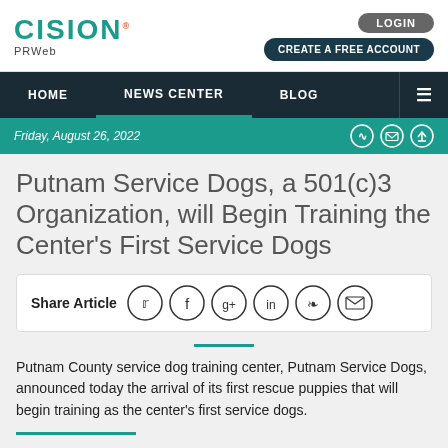CISION PRWeb
HOME | NEWS CENTER | BLOG
Friday, August 26, 2022
Putnam Service Dogs, a 501(c)3 Organization, will Begin Training the Center's First Service Dogs
Share Article
Putnam County service dog training center, Putnam Service Dogs, announced today the arrival of its first rescue puppies that will begin training as the center's first service dogs.